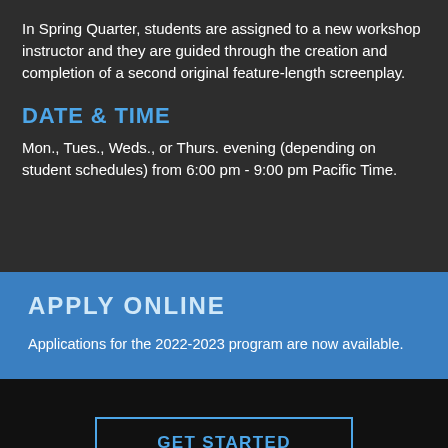In Spring Quarter, students are assigned to a new workshop instructor and they are guided through the creation and completion of a second original feature-length screenplay.
DATE & TIME
Mon., Tues., Weds., or Thurs. evening (depending on student schedules) from 6:00 pm - 9:00 pm Pacific Time.
APPLY ONLINE
Applications for the 2022-2023 program are now available.
GET STARTED